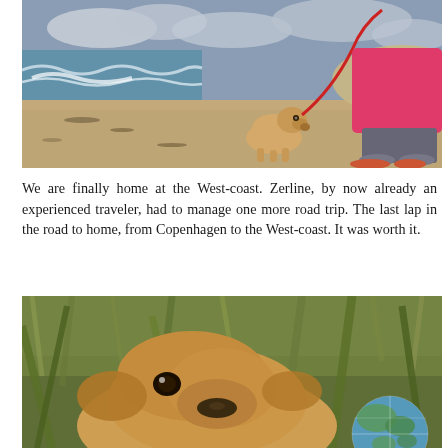[Figure (photo): Person in pink jacket walking a golden labrador puppy on a red leash on a sandy beach with ocean waves in the background and sand dunes.]
We are finally home at the West-coast. Zerline, by now already an experienced traveler, had to manage one more road trip. The last lap in the road to home, from Copenhagen to the West-coast. It was worth it.
[Figure (photo): Close-up of a golden retriever puppy lying in tall green grass with a globe toy visible in the lower right corner.]